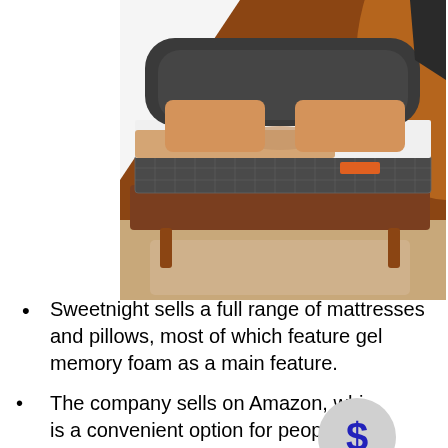[Figure (photo): A mattress on a bed frame with tan/orange pillows and bedding in a room with brown/orange walls and a floor lamp.]
Sweetnight sells a full range of mattresses and pillows, most of which feature gel memory foam as a main feature.
The company sells on Amazon, which is a convenient option for people who prefer to shop there. However, the company does not have a full range of